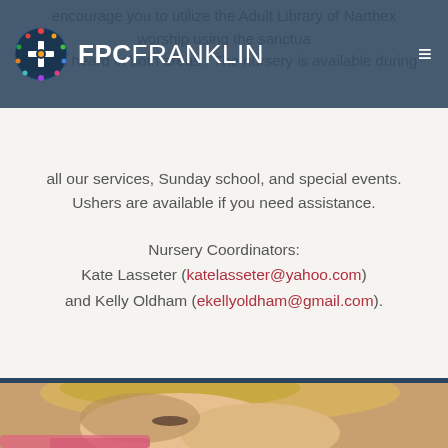FPC FRANKLIN
encourage you to utilize the Adult Library of Narthex worship using the sanctua audio heard in both areas. The nursery is available during all our services, Sunday school, and special events. Ushers are available if you need assistance.
Nursery Coordinators:
Kate Lasseter (katelasseter@yahoo.com)
and Kelly Oldham (ekellyoldham@gmail.com).
[Figure (photo): Close-up photo of a young blonde child looking downward, wearing pink clothing.]